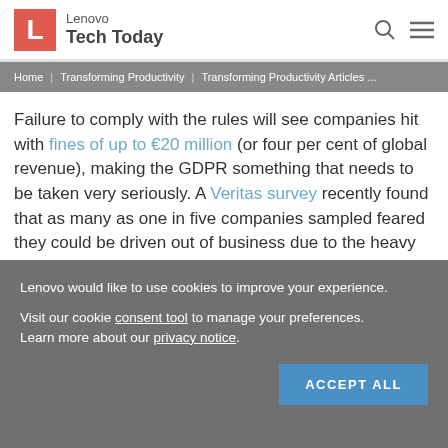Lenovo Tech Today
Home | Transforming Productivity | Transforming Productivity Articles ...
Failure to comply with the rules will see companies hit with fines of up to €20 million (or four per cent of global revenue), making the GDPR something that needs to be taken very seriously. A Veritas survey recently found that as many as one in five companies sampled feared they could be driven out of business due to the heavy penalties involved.
Lenovo would like to use cookies to improve your experience. Visit our cookie consent tool to manage your preferences. Learn more about our privacy notice.